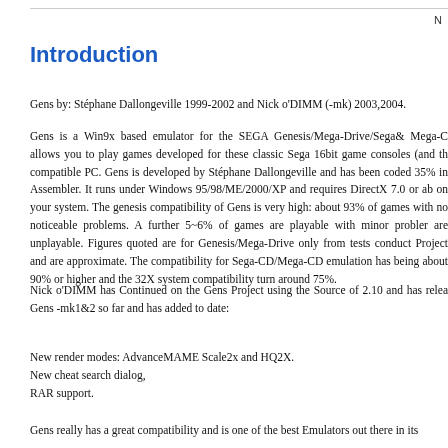N
Introduction
Gens by: Stéphane Dallongeville 1999-2002 and Nick o'DIMM (-mk) 2003,2004.
Gens is a Win9x based emulator for the SEGA Genesis/Mega-Drive/Sega& Mega-C allows you to play games developed for these classic Sega 16bit game consoles (and th compatible PC. Gens is developed by Stéphane Dallongeville and has been coded 35% in Assembler. It runs under Windows 95/98/ME/2000/XP and requires DirectX 7.0 or ab on your system. The genesis compatibility of Gens is very high: about 93% of games with no noticeable problems. A further 5~6% of games are playable with minor probler are unplayable. Figures quoted are for Genesis/Mega-Drive only from tests conduct Project and are approximate. The compatibility for Sega-CD/Mega-CD emulation has being about 90% or higher and the 32X system compatibility turn around 75%.
Nick o'DIMM has Continued on the Gens Project using the Source of 2.10 and has relea Gens -mk1&2 so far and has added to date:
New render modes: AdvanceMAME Scale2x and HQ2X.
New cheat search dialog,
RAR support.
Gens really has a great compatibility and is one of the best Emulators out there in its